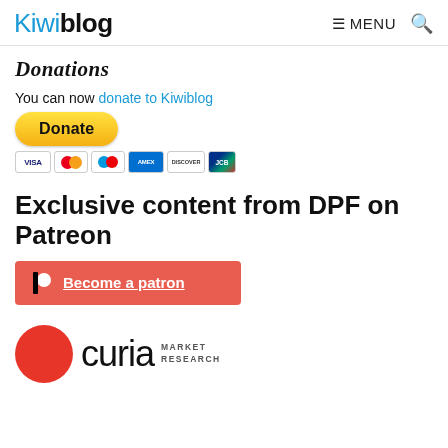Kiwiblog  ☰ MENU  🔍
Donations
You can now donate to Kiwiblog
[Figure (other): PayPal Donate button with payment card icons (Visa, Mastercard, Maestro, Amex, Discover, JCB)]
Exclusive content from DPF on Patreon
[Figure (other): Patreon red button with Patreon logo and text 'Become a patron']
[Figure (logo): Curia Market Research logo with red circle and text]